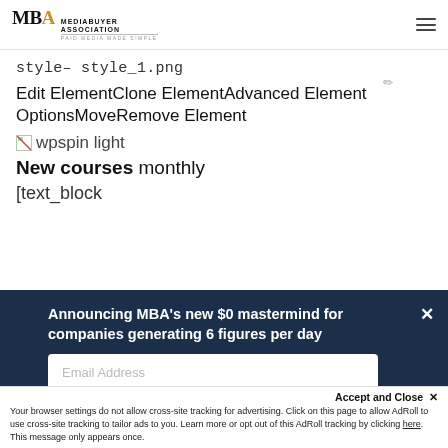MBA MediaBuyer Association — navigation header
style– style_1.png
Edit ElementClone ElementAdvanced Element OptionsMoveRemove Element
[Figure (illustration): Small broken image icon placeholder for wpspin light]
wpspin light
New courses monthly
[text_block
Announcing MBA's new $0 mastermind for companies generating 6 figures per day
Email Address
Accept and Close ✕
Your browser settings do not allow cross-site tracking for advertising. Click on this page to allow AdRoll to use cross-site tracking to tailor ads to you. Learn more or opt out of this AdRoll tracking by clicking here. This message only appears once.